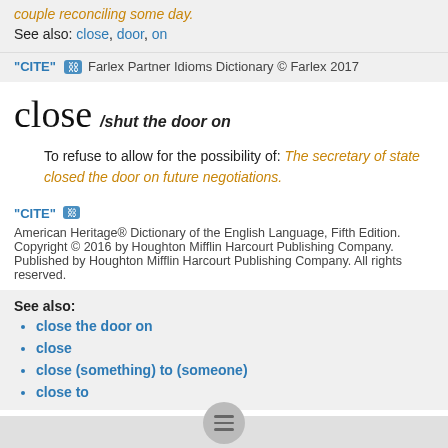couple reconciling some day.
See also: close, door, on
"CITE" [link icon] Farlex Partner Idioms Dictionary © Farlex 2017
close /shut the door on
To refuse to allow for the possibility of: The secretary of state closed the door on future negotiations.
"CITE" [link icon] American Heritage® Dictionary of the English Language, Fifth Edition. Copyright © 2016 by Houghton Mifflin Harcourt Publishing Company. Published by Houghton Mifflin Harcourt Publishing Company. All rights reserved.
See also:
close the door on
close
close (something) to (someone)
close to